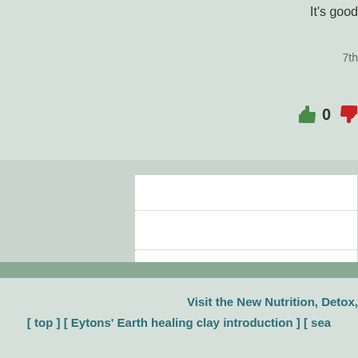It's good
7th
[Figure (other): Thumbs up icon with count 0 and thumbs down icon]
[Figure (other): White input form box with dotted row dividers - first form area]
[Figure (other): White input form box with dotted row dividers - second form area]
Visit the New Nutrition, Detox,
[ top ] [ Eytons' Earth healing clay introduction ] [ sea